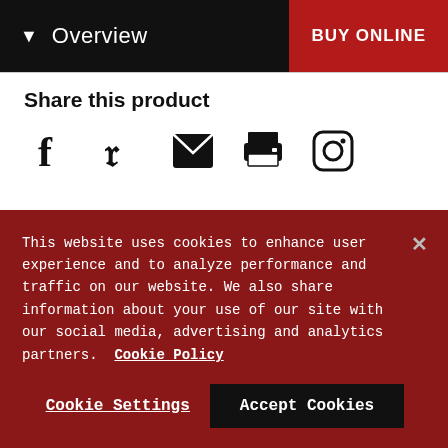Overview | BUY ONLINE
Share this product
[Figure (other): Social sharing icons: Facebook, Pinterest, Email, Print, Instagram]
This website uses cookies to enhance user experience and to analyze performance and traffic on our website. We also share information about your use of our site with our social media, advertising and analytics partners. Cookie Policy
Cookie Settings | Accept Cookies